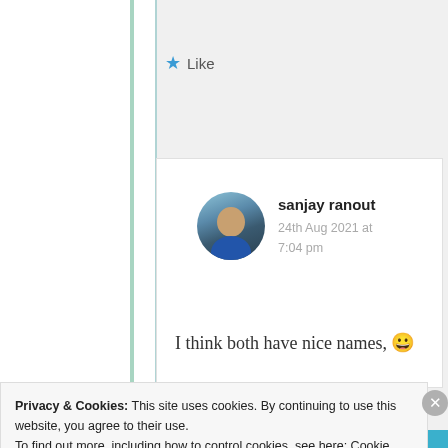★ Like
sanjay ranout
24th Aug 2021 at 7:04 pm
I think both have nice names, 😀
Privacy & Cookies: This site uses cookies. By continuing to use this website, you agree to their use.
To find out more, including how to control cookies, see here: Cookie Policy
Close and accept